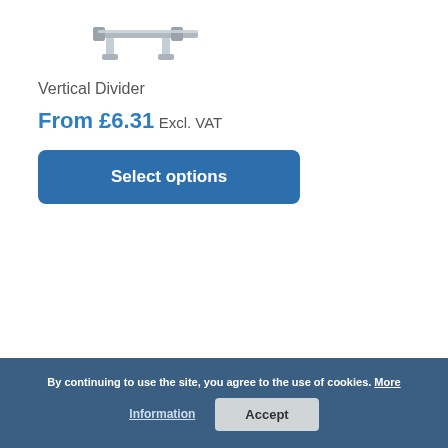[Figure (photo): Partial image of a vertical divider product, metallic/grey colour, shown from above on white background]
Vertical Divider
From £6.31 Excl. VAT
Select options
By continuing to use the site, you agree to the use of cookies. More Information
Accept